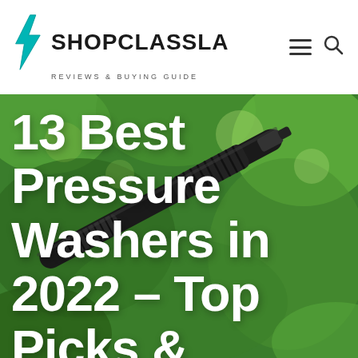SHOPCLASSLA REVIEWS & BUYING GUIDE
[Figure (photo): Close-up photo of a black pressure washer gun/wand with green blurred foliage in the background, serving as hero image]
13 Best Pressure Washers in 2022 – Top Picks & Buying Guide